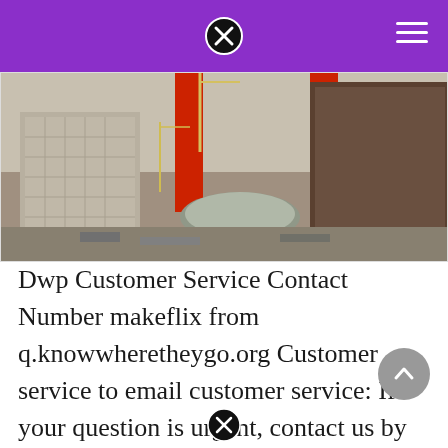[Figure (photo): Aerial view of a large construction site with buildings under construction, cranes, red structural columns, and construction materials scattered around.]
Dwp Customer Service Contact Number makeflix from q.knowwheretheygo.org Customer service to email customer service: If your question is urgent, contact us by webchat or telephone. The pension service disability service centre get advice or information about a claim you've already made for disability living allowance, attendance allowance or personal.